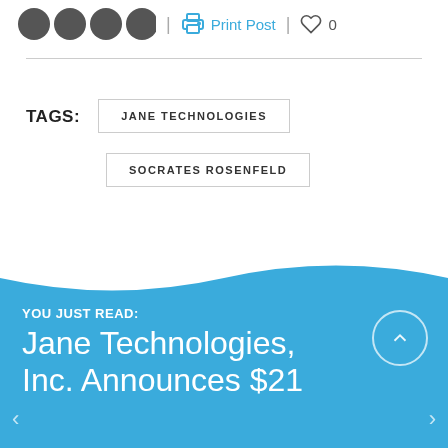[Figure (screenshot): Social share icons (circular dark buttons), a print post link with printer icon, and a heart/like icon with count 0]
| Print Post | ♡ 0
TAGS: JANE TECHNOLOGIES  SOCRATES ROSENFELD
YOU JUST READ:
Jane Technologies, Inc. Announces $21